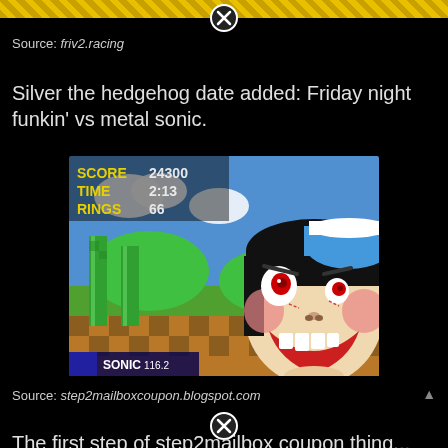[Figure (other): Decorative top strip with gold diagonal pattern]
[Figure (other): Circle X close button at top center]
Source: friv2.racing
Silver the hedgehog date added: Friday night funkin' vs metal sonic.
[Figure (screenshot): Sonic the Hedgehog 2 game screenshot showing Green Hill Zone with score 24300, time 2:13, rings 66, and a cartoon screaming face overlaid on the right side. Bottom shows SONIC 116.2 logo.]
Source: step2mailboxcoupon.blogspot.com
[Figure (other): Circle X close button at bottom center]
The first step of step2mailbox coupon thing...